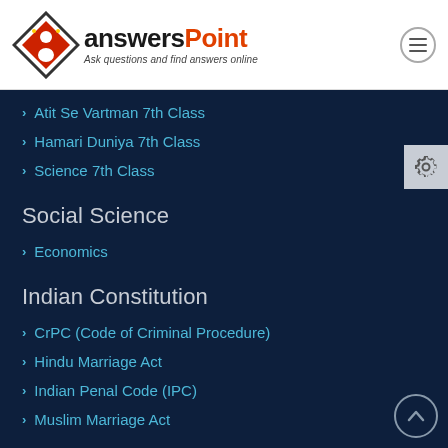[Figure (logo): AnswersPoint logo with diamond shape icon and tagline 'Ask questions and find answers online']
Atit Se Vartman 7th Class
Hamari Duniya 7th Class
Science 7th Class
Social Science
Economics
Indian Constitution
CrPC (Code of Criminal Procedure)
Hindu Marriage Act
Indian Penal Code (IPC)
Muslim Marriage Act
Language